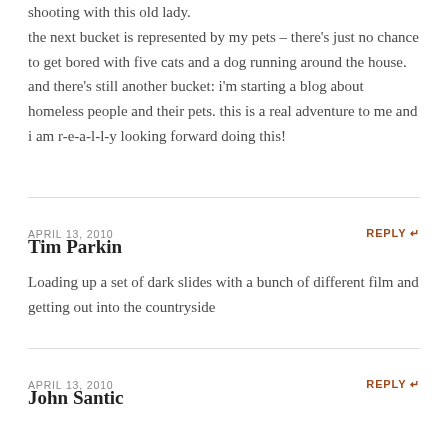shooting with this old lady. the next bucket is represented by my pets – there's just no chance to get bored with five cats and a dog running around the house. and there's still another bucket: i'm starting a blog about homeless people and their pets. this is a real adventure to me and i am r-e-a-l-l-y looking forward doing this!
APRIL 13, 2010
REPLY ↩
Tim Parkin
Loading up a set of dark slides with a bunch of different film and getting out into the countryside
APRIL 13, 2010
REPLY ↩
John Santic